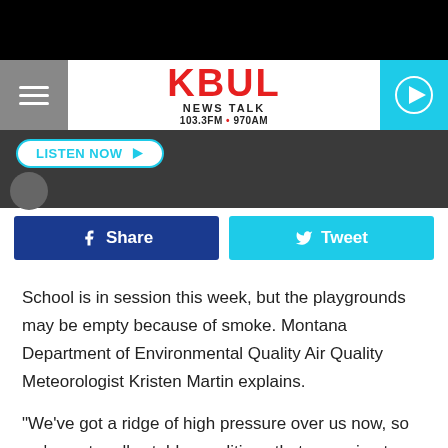[Figure (screenshot): Black top bar]
KBUL NEWS TALK 103.3FM • 970AM
[Figure (screenshot): LISTEN NOW button bar]
[Figure (screenshot): Share and Tweet social buttons]
School is in session this week, but the playgrounds may be empty because of smoke. Montana Department of Environmental Quality Air Quality Meteorologist Kristen Martin explains.
"We've got a ridge of high pressure over us now, so we've got really stable conditions that are going to persist through, at least Wednesday, where the smoke is going to settle down near the surface and we're going to have pretty wide spread